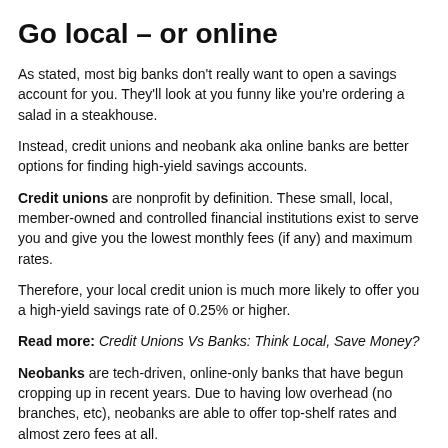Go local – or online
As stated, most big banks don't really want to open a savings account for you. They'll look at you funny like you're ordering a salad in a steakhouse.
Instead, credit unions and neobank aka online banks are better options for finding high-yield savings accounts.
Credit unions are nonprofit by definition. These small, local, member-owned and controlled financial institutions exist to serve you and give you the lowest monthly fees (if any) and maximum rates.
Therefore, your local credit union is much more likely to offer you a high-yield savings rate of 0.25% or higher.
Read more: Credit Unions Vs Banks: Think Local, Save Money?
Neobanks are tech-driven, online-only banks that have begun cropping up in recent years. Due to having low overhead (no branches, etc), neobanks are able to offer top-shelf rates and almost zero fees at all.